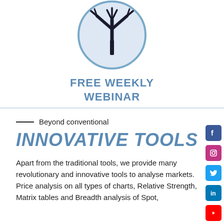[Figure (logo): Circular logo with light blue background and a black tree/branch icon inside, representing a financial analysis service]
FREE WEEKLY WEBINAR
Beyond conventional
INNOVATIVE TOOLS
Apart from the traditional tools, we provide many revolutionary and innovative tools to analyse markets. Price analysis on all types of charts, Relative Strength, Matrix tables and Breadth analysis of Spot,